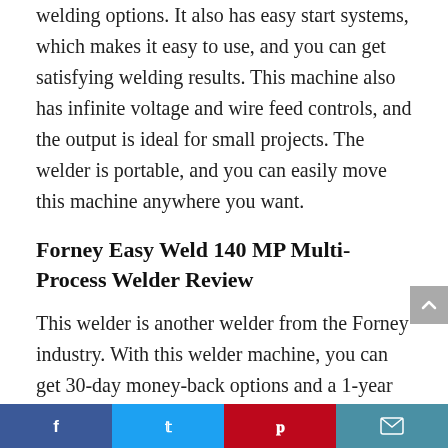welding options. It also has easy start systems, which makes it easy to use, and you can get satisfying welding results. This machine also has infinite voltage and wire feed controls, and the output is ideal for small projects. The welder is portable, and you can easily move this machine anywhere you want.
Forney Easy Weld 140 MP Multi-Process Welder Review
This welder is another welder from the Forney industry. With this welder machine, you can get 30-day money-back options and a 1-year limited warranty.
Multi-process welding